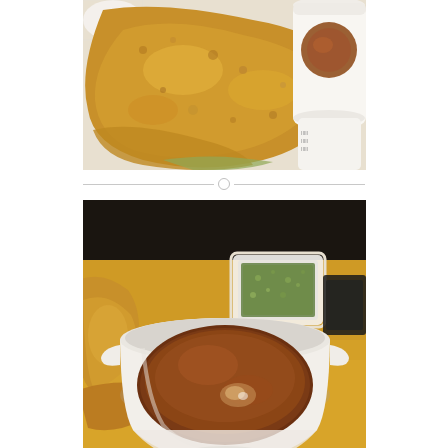[Figure (photo): Close-up photo of golden fried food (likely katsu or fried chicken) on a plate with a white cup of brown dipping sauce on the right side, placed on a white doily.]
[Figure (photo): Close-up photo of a white ceramic bowl filled with brown dipping sauce (tentsuyu), with fried food on the left and a small square dish of sauce/condiment in the background, on a yellow table.]